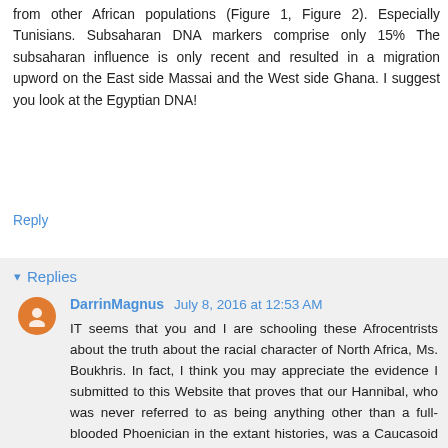from other African populations (Figure 1, Figure 2). Especially Tunisians. Subsaharan DNA markers comprise only 15% The subsaharan influence is only recent and resulted in a migration upword on the East side Massai and the West side Ghana. I suggest you look at the Egyptian DNA!
Reply
▾ Replies
DarrinMagnus  July 8, 2016 at 12:53 AM
IT seems that you and I are schooling these Afrocentrists about the truth about the racial character of North Africa, Ms. Boukhris. In fact, I think you may appreciate the evidence I submitted to this Website that proves that our Hannibal, who was never referred to as being anything other than a full-blooded Phoenician in the extant histories, was a Caucasoid of the Mediterranean extraction, and not a Negroid.
Also, you have the first name of my maternal